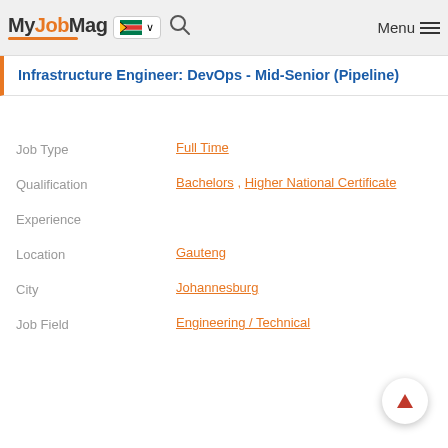MyJobMag [South Africa flag] [search] Menu
Infrastructure Engineer: DevOps - Mid-Senior (Pipeline)
Job Type: Full Time
Qualification: Bachelors , Higher National Certificate
Experience
Location: Gauteng
City: Johannesburg
Job Field: Engineering / Technical